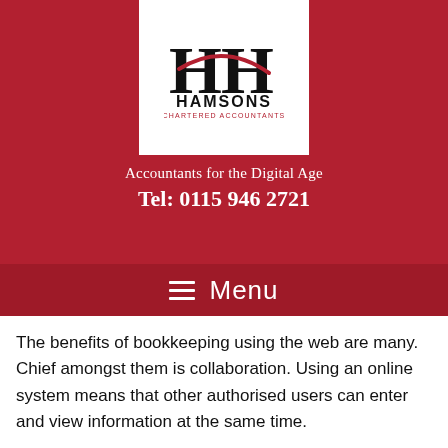[Figure (logo): Hamsons Chartered Accountants logo on white background within red header]
Accountants for the Digital Age
Tel: 0115 946 2721
≡  Menu
The benefits of bookkeeping using the web are many. Chief amongst them is collaboration. Using an online system means that other authorised users can enter and view information at the same time.
The most obvious example is that, as your accountants, we can view your information during the year rather than until you hand us the backup file subsequent to the yea... This provides a significant advantage because it enables us to